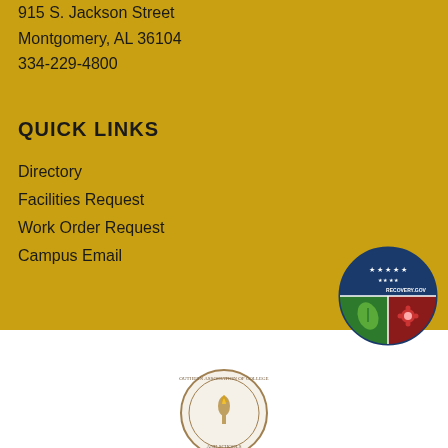915 S. Jackson Street
Montgomery, AL 36104
334-229-4800
QUICK LINKS
Directory
Facilities Request
Work Order Request
Campus Email
[Figure (logo): Recovery.gov circular badge with blue top section containing white stars, green bottom-left section with leaf/plant icon, and red bottom-right section with gear/flower icon]
[Figure (logo): Southern Association of Colleges and Schools circular seal with torch/flame emblem]